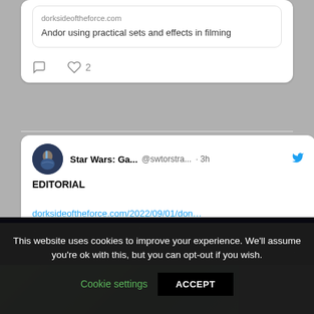[Figure (screenshot): Partial tweet card showing a link to dorksideoftheforce.com about Andor using practical sets and effects in filming, with reply and like (2) action icons]
[Figure (screenshot): Tweet card from Star Wars: Ga... (@swtorstra...) posted 3h ago with Twitter bird icon, showing 'EDITORIAL' text and a link to dorksideoftheforce.com/2022/09/01/don...]
[Figure (photo): Partial photo of a green outdoor/forest scene visible at bottom left of page]
This website uses cookies to improve your experience. We'll assume you're ok with this, but you can opt-out if you wish.
Cookie settings  ACCEPT